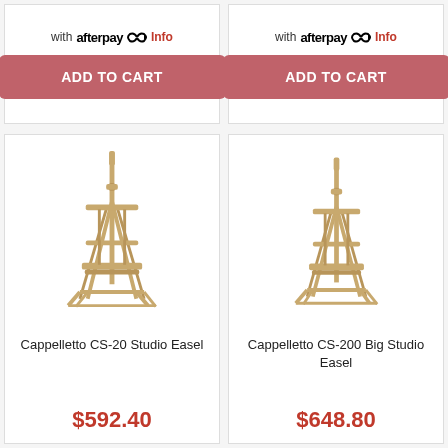with afterpay Info
ADD TO CART
with afterpay Info
ADD TO CART
[Figure (photo): Cappelletto CS-20 Studio Easel - wooden H-frame studio easel with vertical mast]
Cappelletto CS-20 Studio Easel
$592.40
[Figure (photo): Cappelletto CS-200 Big Studio Easel - wooden H-frame studio easel, slightly smaller appearance]
Cappelletto CS-200 Big Studio Easel
$648.80